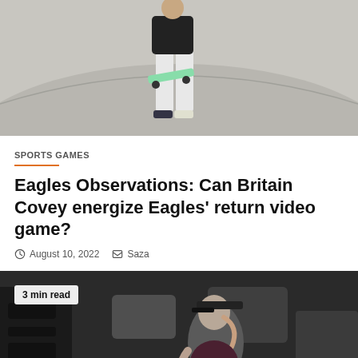[Figure (photo): Person standing at a skate park holding a skateboard, wearing white pants and dark top, viewed from waist down]
SPORTS GAMES
Eagles Observations: Can Britain Covey energize Eagles' return video game?
August 10, 2022  Saza
[Figure (photo): Black and white photo of a woman in a sports bra and cap in a gym setting, with a '3 min read' badge overlay]